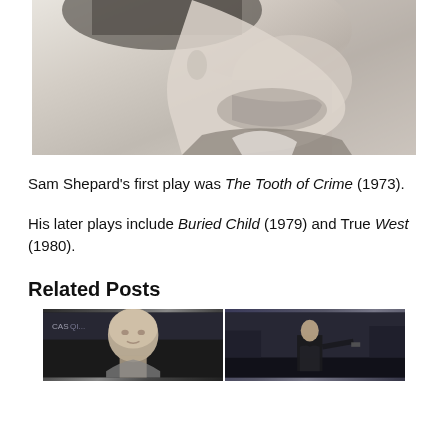[Figure (photo): Black and white close-up profile photo of a man (Sam Shepard) looking upward, showing his jaw, neck, and collar]
Sam Shepard's first play was The Tooth of Crime (1973).
His later plays include Buried Child (1979) and True West (1980).
Related Posts
[Figure (photo): Two related post thumbnail photos side by side: left shows a bald man at an event, right shows a man in dark clothing holding a gun (James Bond style)]